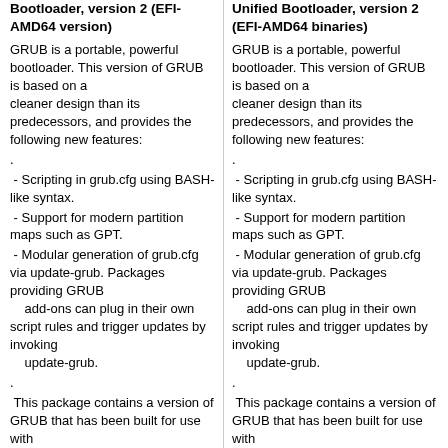Bootloader, version 2 (EFI-AMD64 version)
Unified Bootloader, version 2 (EFI-AMD64 binaries)
GRUB is a portable, powerful bootloader. This version of GRUB is based on a cleaner design than its predecessors, and provides the following new features:
.
 - Scripting in grub.cfg using BASH-like syntax.
 - Support for modern partition maps such as GPT.
 - Modular generation of grub.cfg via update-grub. Packages providing GRUB add-ons can plug in their own script rules and trigger updates by invoking update-grub.
.
This package contains a version of GRUB that has been built for use with EFI-AMD64 architecture, such as
GRUB is a portable, powerful bootloader. This version of GRUB is based on a cleaner design than its predecessors, and provides the following new features:
.
 - Scripting in grub.cfg using BASH-like syntax.
 - Support for modern partition maps such as GPT.
 - Modular generation of grub.cfg via update-grub. Packages providing GRUB add-ons can plug in their own script rules and trigger updates by invoking update-grub.
.
This package contains a version of GRUB that has been built for use with EFI-AMD64 architecture, such as